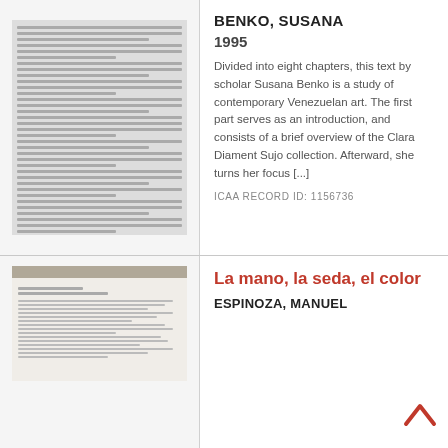[Figure (photo): Thumbnail of a book page spread with dense small text in two columns]
BENKO, SUSANA
1995
Divided into eight chapters, this text by scholar Susana Benko is a study of contemporary Venezuelan art. The first part serves as an introduction, and consists of a brief overview of the Clara Diament Sujo collection. Afterward, she turns her focus [...]
ICAA RECORD ID: 1156736
[Figure (photo): Thumbnail of a document with cream background and small text]
La mano, la seda, el color
ESPINOZA, MANUEL